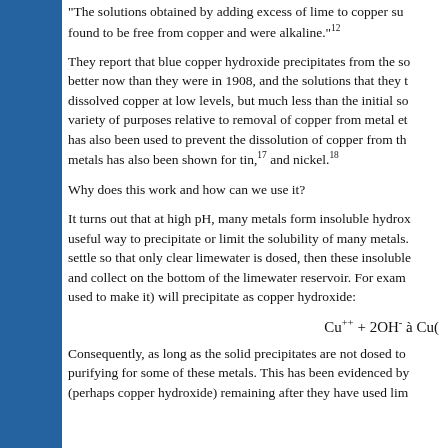"The solutions obtained by adding excess of lime to copper sulfate were found to be free from copper and were alkaline."12
They report that blue copper hydroxide precipitates from the solution. Better now than they were in 1908, and the solutions that they tested contained dissolved copper at low levels, but much less than the initial solution. variety of purposes relative to removal of copper from metal etching. has also been used to prevent the dissolution of copper from the metals has also been shown for tin,17 and nickel.18
Why does this work and how can we use it?
It turns out that at high pH, many metals form insoluble hydroxides. useful way to precipitate or limit the solubility of many metals. settle so that only clear limewater is dosed, then these insoluble and collect on the bottom of the limewater reservoir. For example used to make it) will precipitate as copper hydroxide:
Consequently, as long as the solid precipitates are not dosed to purifying for some of these metals. This has been evidenced by (perhaps copper hydroxide) remaining after they have used limewater.